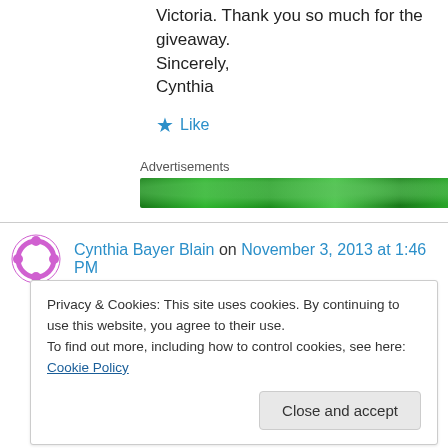Victoria. Thank you so much for the giveaway.
Sincerely,
Cynthia
★ Like
Advertisements
[Figure (other): Green advertisement banner bar]
Cynthia Bayer Blain on November 3, 2013 at 1:46 PM
Privacy & Cookies: This site uses cookies. By continuing to use this website, you agree to their use.
To find out more, including how to control cookies, see here: Cookie Policy
Close and accept